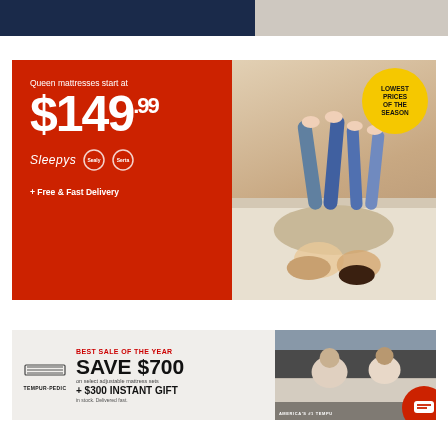[Figure (photo): Top banner split: left side dark navy blue background, right side showing a person in white clothing]
[Figure (infographic): Sleepys mattress advertisement on red background. Text: Queen mattresses start at $149.99. Brands: Sleepys, Sealy, Serta. + Free & Fast Delivery. Badge: LOWEST PRICES OF THE SEASON. Photo of couple lying on bed.]
[Figure (infographic): Tempur-Pedic advertisement on light grey background. BEST SALE OF THE YEAR. SAVE $700 on select adjustable mattress sets. + $300 INSTANT GIFT in stock. Delivered fast. AMERICA'S #1 TEMPU[R-PEDIC]. Photo of people on a Tempur-Pedic mattress. Red chat bubble icon.]